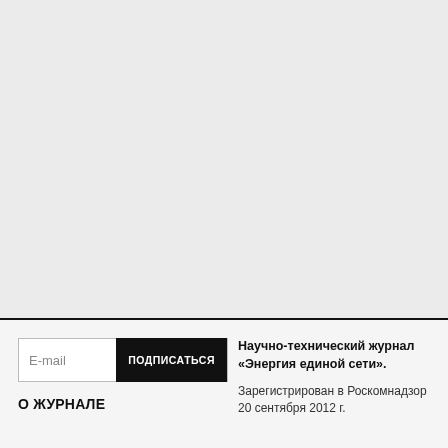[Figure (other): Large grey empty area at the top of the page, serving as a placeholder or image area for a journal website.]
E-mail
ПОДПИСАТЬСЯ
О ЖУРНАЛЕ
Научно-технический журнал «Энергия единой сети».
Зарегистрирован в Роскомнадзор 20 сентября 2012 г.